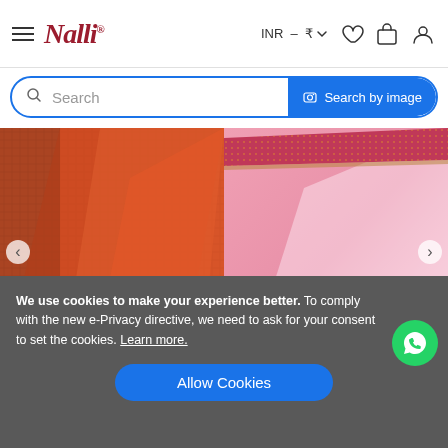Nalli — INR ₹
Search
Search by image
[Figure (photo): Two sarees displayed side by side: left is an orange/rust colored silk saree with red border and tassels; right is a pink chiffon saree with embellished border and lace trim.]
We use cookies to make your experience better. To comply with the new e-Privacy directive, we need to ask for your consent to set the cookies. Learn more.
Allow Cookies